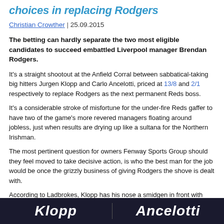choices in replacing Rodgers
Christian Crowther | 25.09.2015
The betting can hardly separate the two most eligible candidates to succeed embattled Liverpool manager Brendan Rodgers.
It's a straight shootout at the Anfield Corral between sabbatical-taking big hitters Jurgen Klopp and Carlo Ancelotti, priced at 13/8 and 2/1 respectively to replace Rodgers as the next permanent Reds boss.
It's a considerable stroke of misfortune for the under-fire Reds gaffer to have two of the game's more revered managers floating around jobless, just when results are drying up like a sultana for the Northern Irishman.
The most pertinent question for owners Fenway Sports Group should they feel moved to take decisive action, is who the best man for the job would be once the grizzly business of giving Rodgers the shove is dealt with.
According to Ladbrokes, Klopp has his nose a smidgen in front with rumours of a forthcoming appearance at Anfield bound to be a factor in the German's popularity.
Nevertheless, having delved into the managerial stats on this pair of potential Kop idols, it has become crystal clear whose number John W Henry should have on speed dial.
[Figure (infographic): Dark banner at bottom showing 'Klopp' on left and 'Ancelotti' on right in large white italic bold text, separated by a vertical line.]